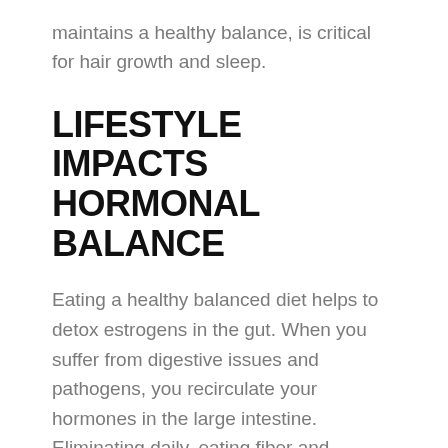maintains a healthy balance, is critical for hair growth and sleep.
LIFESTYLE IMPACTS HORMONAL BALANCE
Eating a healthy balanced diet helps to detox estrogens in the gut. When you suffer from digestive issues and pathogens, you recirculate your hormones in the large intestine. Eliminating daily, eating fiber and drinking half your body weight in ounces of water per day help rid your system of circulating estrogens. You've heard it – eat the rainbow. Foods like rosemary, omega 3 fatty acids, cruciferous vegetables, and good